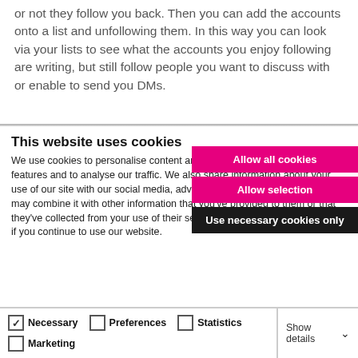or not they follow you back. Then you can add the accounts onto a list and unfollowing them. In this way you can look via your lists to see what the accounts you enjoy following are writing, but still follow people you want to discuss with or enable to send you DMs.
This website uses cookies
We use cookies to personalise content and ads, to provide social media features and to analyse our traffic. We also share information about your use of our site with our social media, advertising and analytics partners who may combine it with other information that you've provided to them or that they've collected from your use of their services. You consent to our cookies if you continue to use our website.
Allow all cookies
Allow selection
Use necessary cookies only
Necessary   Preferences   Statistics   Marketing   Show details